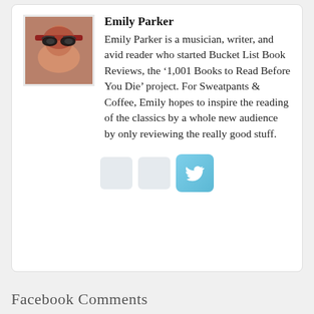[Figure (photo): Profile photo of Emily Parker, a woman with red hair wearing large black sunglasses, shown from shoulders up]
Emily Parker
Emily Parker is a musician, writer, and avid reader who started Bucket List Book Reviews, the ‘1,001 Books to Read Before You Die’ project. For Sweatpants & Coffee, Emily hopes to inspire the reading of the classics by a whole new audience by only reviewing the really good stuff.
[Figure (logo): Twitter social media icon button, light blue rounded square with white bird logo]
Facebook Comments